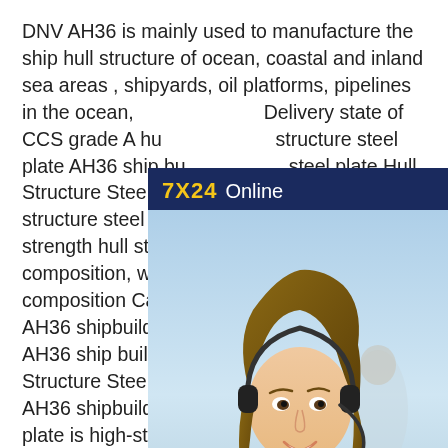DNV AH36 is mainly used to manufacture the ship hull structure of ocean, coastal and inland sea areas , shipyards, oil platforms, pipelines in the ocean, Delivery state of CCS grade A hull structure steel plate AH36 ship building steel plate Hull Structure Steel Plate grade A hull structure steel plate is general strength hull structural steel chemical composition, which is mainly composition Carbon C 0.21% Fix AH36 shipbuilding steel plate - Sh AH36 ship building steel plate Hull Structure Steel PlateApplication of Grade AH36 shipbuilding steel Grade AH36 steel plate is high-strength and high-strength structural steel for hull . Shipbuilding
[Figure (other): Chat widget overlay with '7X24 Online' header, photo of a woman wearing a headset, and 'Hello,may I help you?' message with a 'Get Latest Price' button]